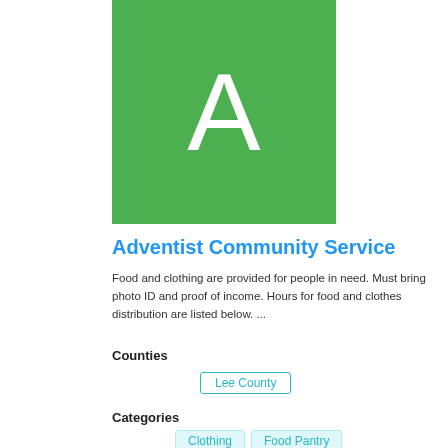[Figure (logo): Green square with white letter A — Adventist Community Service logo placeholder]
Adventist Community Service
Food and clothing are provided for people in need. Must bring photo ID and proof of income. Hours for food and clothes distribution are listed below. ...
Counties
Lee County
Categories
Clothing   Food Pantry